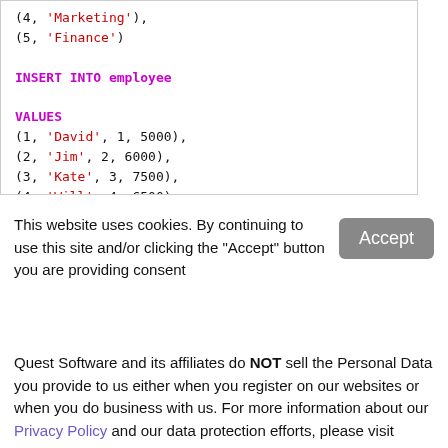(4, 'Marketing'),
(5, 'Finance')

INSERT INTO employee

VALUES
(1, 'David', 1, 5000),
(2, 'Jim', 2, 6000),
(3, 'Kate', 3, 7500),
(4, 'Will', 4, 6500)
This website uses cookies. By continuing to use this site and/or clicking the "Accept" button you are providing consent
Quest Software and its affiliates do NOT sell the Personal Data you provide to us either when you register on our websites or when you do business with us. For more information about our Privacy Policy and our data protection efforts, please visit GDPR-HQ